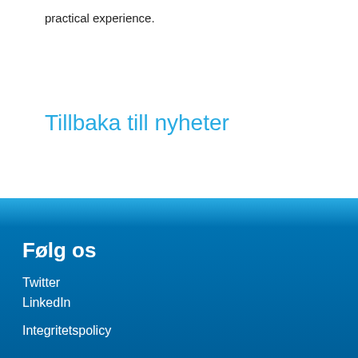practical experience.
Tillbaka till nyheter
Følg os
Twitter
LinkedIn
Integritetspolicy